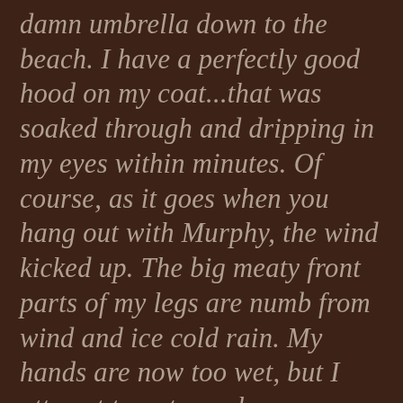damn umbrella down to the beach. I have a perfectly good hood on my coat...that was soaked through and dripping in my eyes within minutes. Of course, as it goes when you hang out with Murphy, the wind kicked up. The big meaty front parts of my legs are numb from wind and ice cold rain. My hands are now too wet, but I attempt to put my gloves on, no such luck, I shove them back in my pockets. With all this water from the ocean, water from the sky, well, now I have to pee so bad I'm almost in tears. By the way, I am STILL looking at the goodies on the sand, and even picking up a few. I am a diehard